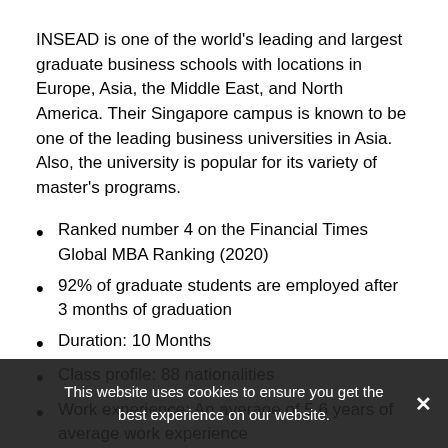INSEAD is one of the world's leading and largest graduate business schools with locations in Europe, Asia, the Middle East, and North America. Their Singapore campus is known to be one of the leading business universities in Asia. Also, the university is popular for its variety of master's programs.
Ranked number 4 on the Financial Times Global MBA Ranking (2020)
92% of graduate students are employed after 3 months of graduation
Duration: 10 Months
Class profile: 88 nationalities
Work experience: An average of 5.6 years of average work experience
Tuition fees: €89,000, scholarships available
GMAT Range: 670-750
Accepted tests: GMAT and GRE
Accreditations: AMBA, AACSB, EQUIS
This website uses cookies to ensure you get the best experience on our website.